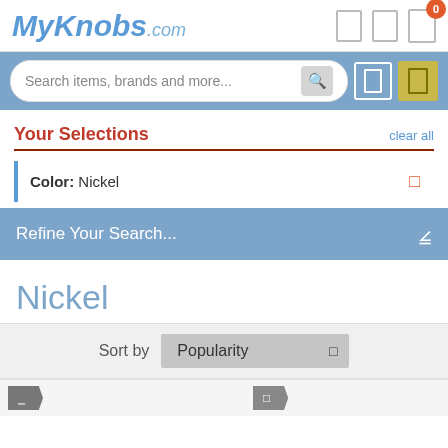MyKnobs.com
Search items, brands and more...
Your Selections
clear all
Color: Nickel
Refine Your Search...
Nickel
Sort by Popularity